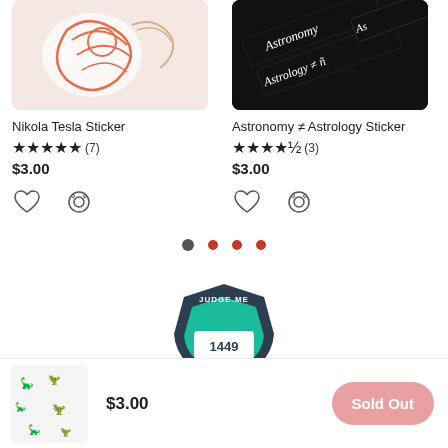[Figure (photo): Nikola Tesla sticker product image showing orange and white illustrated sticker with Tesla figure]
[Figure (photo): Astronomy ≠ Astrology sticker product image showing black ribbon-style stickers with text]
Nikola Tesla Sticker
★★★★★ (7)
$3.00
Astronomy ≠ Astrology Sticker
★★★★½ (3)
$3.00
[Figure (logo): Judge.me badge logo showing teal and dark blue shield with text JUDGE.ME and number 1449]
[Figure (photo): Small dinosaur sticker product thumbnail image showing black dinosaur illustrations on white background]
$3.00
Sold Out